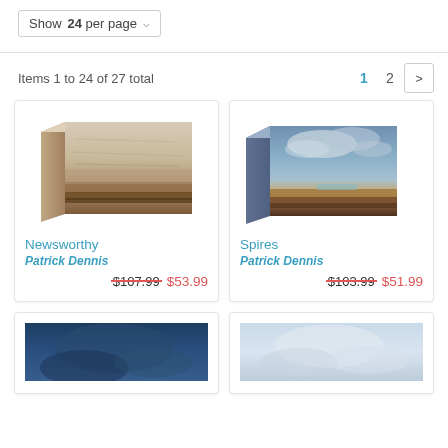Show 24 per page
Items 1 to 24 of 27 total
[Figure (illustration): Newsworthy by Patrick Dennis - canvas painting of a horizontal landscape with beige/brown tones]
Newsworthy
Patrick Dennis
$107.99  $53.99
[Figure (illustration): Spires by Patrick Dennis - canvas painting of a landscape with blue cloudy sky and brown earth tones]
Spires
Patrick Dennis
$103.99  $51.99
[Figure (illustration): Partial view of a dark blue abstract canvas painting]
[Figure (illustration): Partial view of a light blue/white canvas painting]